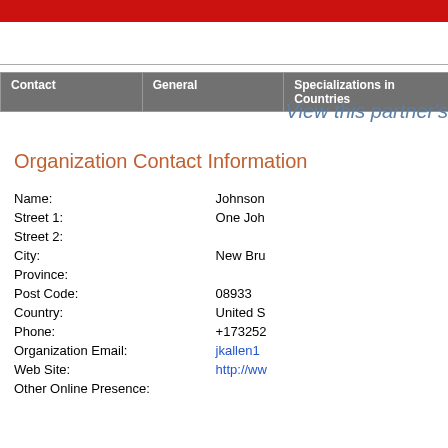| Contact | General | Specializations in Countries |
| --- | --- | --- |
View this partner's
Organization Contact Information
| Field | Value |
| --- | --- |
| Name: | Johnson |
| Street 1: | One Joh |
| Street 2: |  |
| City: | New Bru |
| Province: |  |
| Post Code: | 08933 |
| Country: | United S |
| Phone: | +173252 |
| Organization Email: | jkallen1 |
| Web Site: | http://ww |
| Other Online Presence: |  |